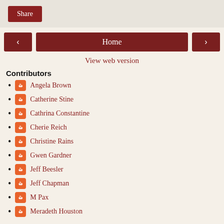[Figure (screenshot): Share button in dark red on a light beige/grey bar at the top of the page]
[Figure (screenshot): Navigation row with left arrow button, Home button, and right arrow button, all in dark red]
View web version
Contributors
Angela Brown
Catherine Stine
Cathrina Constantine
Cherie Reich
Christine Rains
Gwen Gardner
Jeff Beesler
Jeff Chapman
M Pax
Meradeth Houston